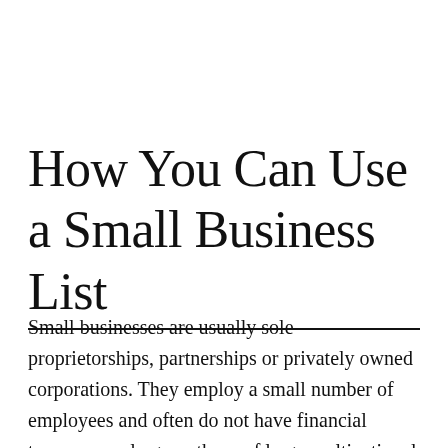How You Can Use a Small Business List
Small businesses are usually sole proprietorships, partnerships or privately owned corporations. They employ a small number of employees and often do not have financial turnovers as large as those of large multinational companies. Small businesses are present in every industry. Ranging